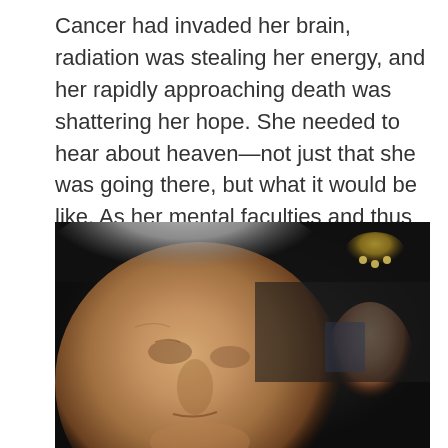Cancer had invaded her brain, radiation was stealing her energy, and her rapidly approaching death was shattering her hope. She needed to hear about heaven—not just that she was going there, but what it would be like. As her mental faculties and thus her world shrunk, she needed to build her anticipation for what lay ahead.
[Figure (photo): Close-up photograph of an older man with gray hair, appearing emotional or concerned, in a crowded indoor setting with a younger man visible in the background to the right and camera flashes visible on the left.]